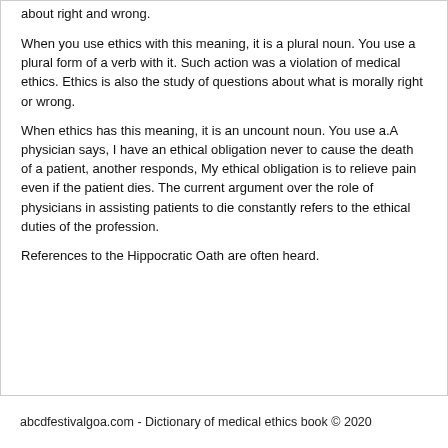about right and wrong.
When you use ethics with this meaning, it is a plural noun. You use a plural form of a verb with it. Such action was a violation of medical ethics. Ethics is also the study of questions about what is morally right or wrong.
When ethics has this meaning, it is an uncount noun. You use a.A physician says, I have an ethical obligation never to cause the death of a patient, another responds, My ethical obligation is to relieve pain even if the patient dies. The current argument over the role of physicians in assisting patients to die constantly refers to the ethical duties of the profession.
References to the Hippocratic Oath are often heard.
abcdfestivalgoa.com - Dictionary of medical ethics book © 2020